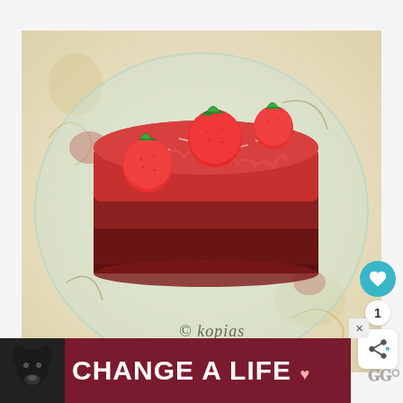[Figure (photo): A rectangular strawberry cake or dessert loaf topped with whole strawberries and red glaze, served on a decorative glass plate with floral motif on a light fabric background. Watermark reads '© kopias' in italic text.]
WHAT'S NEXT →
Agginaropita Me Prassa...
ADVERTISEMENT
[Figure (photo): Advertisement banner with dark red/maroon background showing a black Labrador dog on the left side and large white bold text reading 'CHANGE A LIFE' with a heart icon. An X close button appears in the upper right. A logo appears to the far right.]